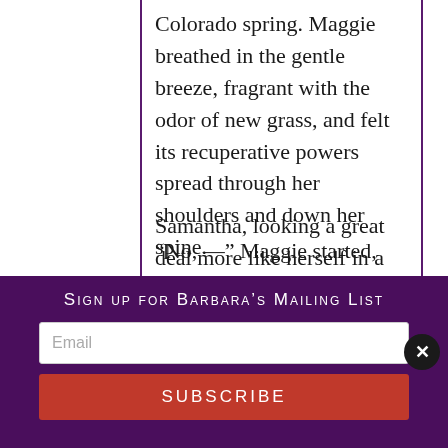Colorado spring. Maggie breathed in the gentle breeze, fragrant with the odor of new grass, and felt its recuperative powers spread through her shoulders and down her spine.
Samantha, looking a great deal more like herself in a ponytail and a pink cotton sweat suit, appeared at the screen door. “Do you need anything, Mom? I’m about to go to bed.”
“No, —” Maggie started, “No, I don’t—
Sign up for Barbara’s Mailing List
Email
SUBSCRIBE